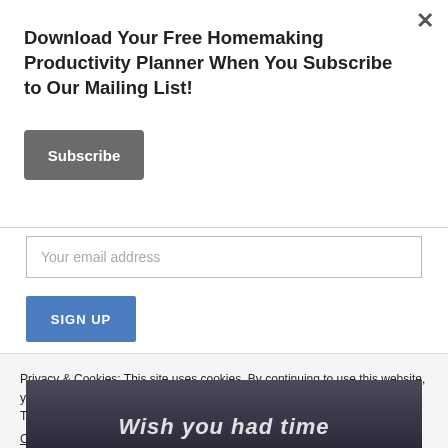Download Your Free Homemaking Productivity Planner When You Subscribe to Our Mailing List!
Subscribe
Your email address
SIGN UP
[Figure (photo): Partial photo showing a person with watermark MakeOverYourMornings.com]
Privacy & Cookies: This site uses cookies. By continuing to use this website, you agree to their use.
To find out more, including how to control cookies, see here:
Cookie Policy
Close and accept
Wish you had time